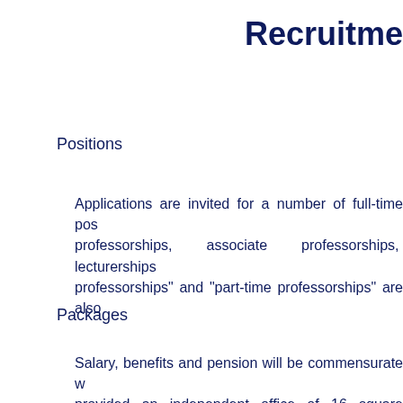Recruitme
Positions
Applications are invited for a number of full-time pos professorships, associate professorships, lecturerships professorships” and “part-time professorships” are also
Packages
Salary, benefits and pension will be commensurate w provided an independent office of 16 square metres. I the Faculty. The University may offer jobs to spouses o